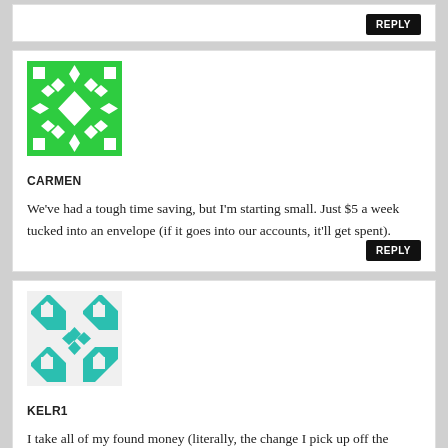[Figure (illustration): Top comment block showing only a REPLY button at upper right, no avatar or text visible (cropped top of page)]
[Figure (illustration): Green avatar icon with white diamond and square geometric pattern for user CARMEN]
CARMEN
We've had a tough time saving, but I'm starting small. Just $5 a week tucked into an envelope (if it goes into our accounts, it'll get spent).
[Figure (illustration): Teal/cyan avatar icon with white diamond and square geometric pattern for user KELR1]
KELR1
I take all of my found money (literally, the change I pick up off the ground)